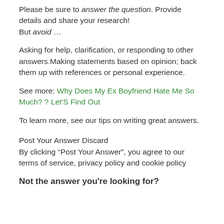Please be sure to answer the question. Provide details and share your research!
But avoid …
Asking for help, clarification, or responding to other answers.Making statements based on opinion; back them up with references or personal experience.
See more: Why Does My Ex Boyfriend Hate Me So Much? ? Let'S Find Out
To learn more, see our tips on writing great answers.
Post Your Answer Discard
By clicking “Post Your Answer”, you agree to our terms of service, privacy policy and cookie policy
Not the answer you're looking for?